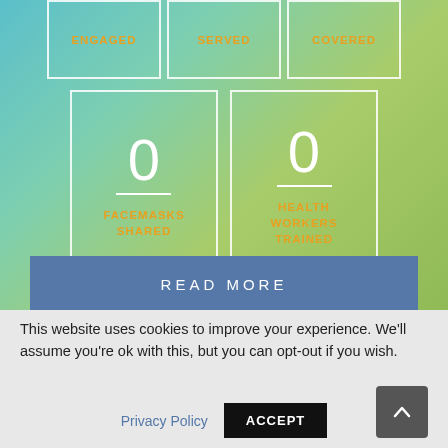[Figure (photo): Background photo showing a teal/turquoise building with green grass in the foreground]
ENGAGED
SERVED
COVERED
0
FACEMASKS SHARED
0
HEALTH WORKERS TRAINED
READ MORE
This website uses cookies to improve your experience. We'll assume you're ok with this, but you can opt-out if you wish.
Privacy Policy
ACCEPT